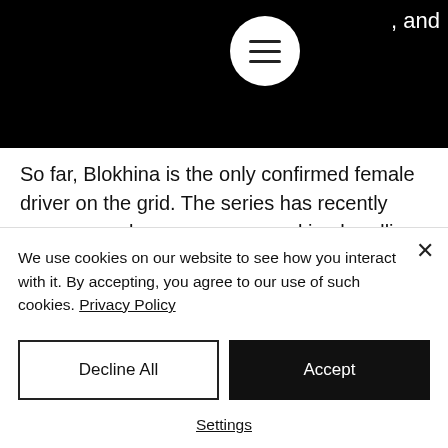[Figure (screenshot): Black navigation banner with hamburger menu button (white circle with three horizontal lines) and partially visible text ', and' in white on the right.]
So far, Blokhina is the only confirmed female driver on the grid. The series has recently seen several women racers making headlines – including the Al Qubaisi sisters Hamda and Amna who both won races on home soil. With 6 victories and 19 podiums over two seasons, Hamda became the most
We use cookies on our website to see how you interact with it. By accepting, you agree to our use of such cookies. Privacy Policy
Decline All
Accept
Settings